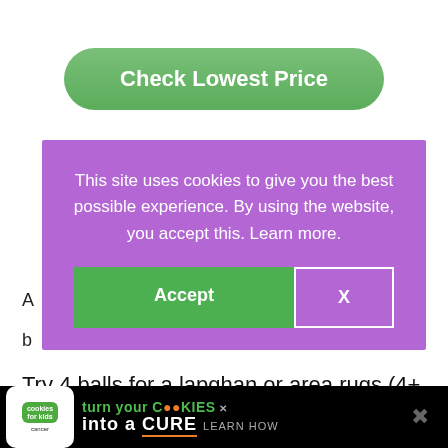[Figure (screenshot): Green rounded-rectangle button labeled 'Check Lowest Price' on white background]
[Figure (screenshot): Purple cookie consent modal overlay with text 'This site uses cookies to give you the best possible experience. By using the website, you accept this. Learn more.' and two buttons: green 'Accept' and outlined 'X']
Try 4 balls for a lapghan or area rugs (4+ balls).
Pros
[Figure (screenshot): Black banner ad: 'cookies for kids cancer' logo on left, text 'turn your COOKIES into a CURE LEARN HOW' in green and white, close X button, speaker icon on right]